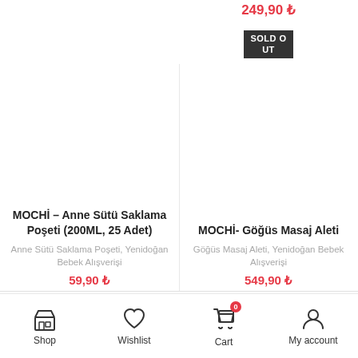249,90 ₺
SOLD OUT
MOCHİ – Anne Sütü Saklama Poşeti (200ML, 25 Adet)
Anne Sütü Saklama Poşeti, Yenidoğan Bebek Alışverişi
59,90 ₺
MOCHİ- Göğüs Masaj Aleti
Göğüs Masaj Aleti, Yenidoğan Bebek Alışverişi
549,90 ₺
Shop | Wishlist | Cart | My account